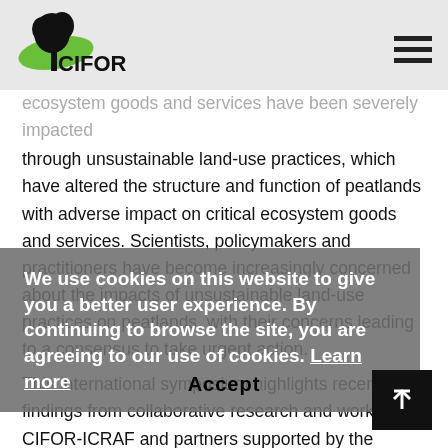CIFOR
ecosystem goods and services have been severely impacted through unsustainable land-use practices, which have altered the structure and function of peatlands with adverse impact on critical ecosystem goods and services. Scientists, policymakers and practitioners have become increasingly concerned about the impacts of unsustainable land-use practices on peatlands, with their concerns leading to a consensus to take urgent action.
This international symposium highlights recent findings from collaborative research and work by CIFOR-ICRAF and partners supported by the Republic of Korea's National Institute of Forest Science (NIFoS) on peatland restoration for food, energy and environmental conservation in Indonesia's Central Kalimantan and South Sumatra provinces.
We use cookies on this website to give you a better user experience. By continuing to browse the site, you are agreeing to our use of cookies. Learn more
Objectives